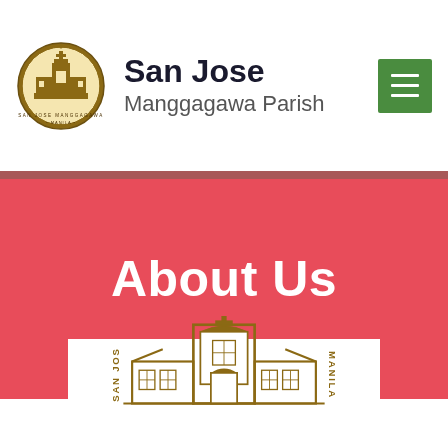San Jose Manggagawa Parish
About Us
[Figure (logo): San Jose Manggagawa Parish seal/logo — circular emblem with church building in gold tones, with text around the border]